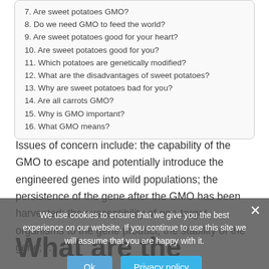7. Are sweet potatoes GMO?
8. Do we need GMO to feed the world?
9. Are sweet potatoes good for your heart?
10. Are sweet potatoes good for you?
11. Which potatoes are genetically modified?
12. What are the disadvantages of sweet potatoes?
13. Why are sweet potatoes bad for you?
14. Are all carrots GMO?
15. Why is GMO important?
16. What GMO means?
Issues of concern include: the capability of the GMO to escape and potentially introduce the engineered genes into wild populations; the persistence of the gene after the GMO has been harvested; the susceptibility of non-target organisms to the gene product; the stability of the gene; …
What are the